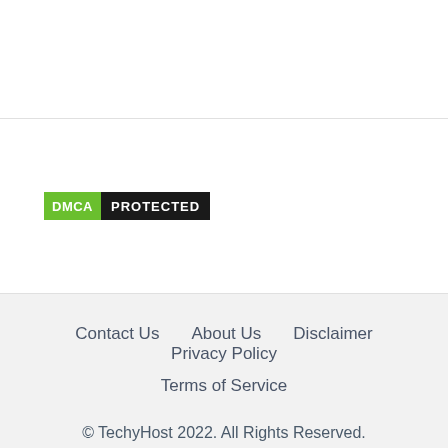[Figure (logo): DMCA Protected badge — green block with 'DMCA' text and black block with 'PROTECTED' text]
Contact Us    About Us    Disclaimer    Privacy Policy    Terms of Service
© TechyHost 2022. All Rights Reserved.
[Figure (infographic): Advertisement banner: U.S. Department of State — Renew my U.S. Passport — LEARN MORE button]